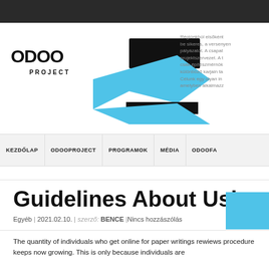[Figure (logo): Odoo Project logo with geometric arrow/bird shape in black and cyan blue]
Régiónkból elsőként be sikeres, a versenyen pályázatot. A csapat projektszervezet. A t csak építészmérnök különböző karjain ta Célunk egy olyan in amelyben alkalmazz
KEZDŐLAP  ODOOPROJECT  PROGRAMOK  MÉDIA  ODOOFA
Guidelines About Using P
Egyéb | 2021.02.10. | szerző: BENCE |Nincs hozzászólás
The quantity of individuals who get online for paper writings rewiews procedure keeps now growing. This is only because individuals are